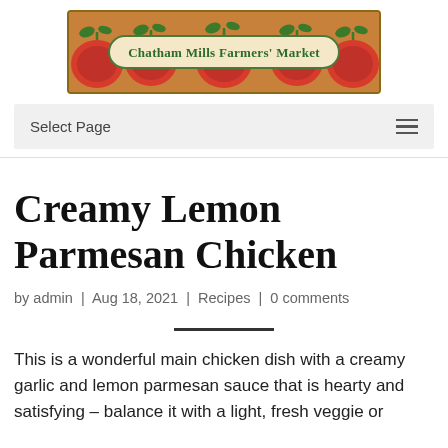[Figure (logo): Chatham Mills Farmers' Market banner logo with red tomatoes on a tan background and an oval green-bordered label with the market name]
Select Page
Creamy Lemon Parmesan Chicken
by admin | Aug 18, 2021 | Recipes | 0 comments
This is a wonderful main chicken dish with a creamy garlic and lemon parmesan sauce that is hearty and satisfying – balance it with a light, fresh veggie or